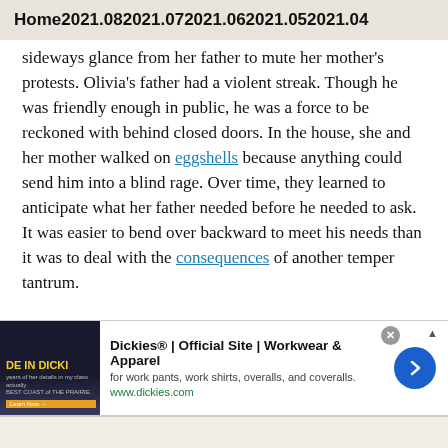Home 2021.08 2021.07 2021.06 2021.05 2021.04
sideways glance from her father to mute her mother's protests. Olivia's father had a violent streak. Though he was friendly enough in public, he was a force to be reckoned with behind closed doors. In the house, she and her mother walked on eggshells because anything could send him into a blind rage. Over time, they learned to anticipate what her father needed before he needed to ask. It was easier to bend over backward to meet his needs than it was to deal with the consequences of another temper tantrum.

Despite her father's many flaws, the day he took her to the gun range was the greatest gift he ever gave her. He taught her how
[Figure (other): Advertisement banner for Dickies workwear showing product image, title 'Dickies® | Official Site | Workwear & Apparel', subtitle 'for work pants, work shirts, overalls, and coveralls.', URL www.dickies.com, and a blue arrow button.]